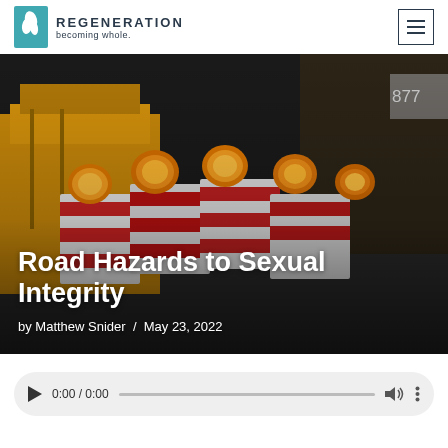REGENERATION becoming whole.
[Figure (photo): Construction road hazard barriers with orange flashing lights on a dark city street, used as hero background image for article titled 'Road Hazards to Sexual Integrity']
Road Hazards to Sexual Integrity
by Matthew Snider / May 23, 2022